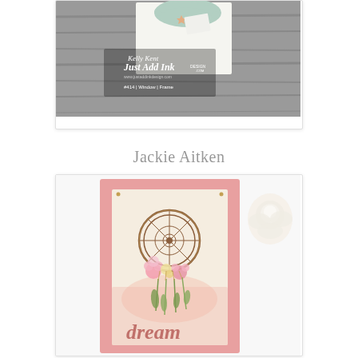[Figure (photo): Top photo showing a craft card with a doily, star embellishment on a gray wooden background. Text overlay reads 'Kelly Kent Just Add Ink #414 | Window | Frame']
Jackie Aitken
[Figure (photo): Bottom photo showing a dream catcher craft card in a pink glitter frame with a cream background, featuring a dreamcatcher design with flowers and feathers, and the word 'dream' in rose gold script at the bottom. A white rose is visible in the top right corner.]